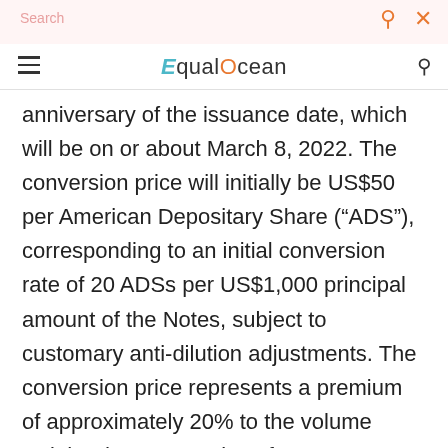Search | EqualOcean
anniversary of the issuance date, which will be on or about March 8, 2022. The conversion price will initially be US$50 per American Depositary Share (“ADS”), corresponding to an initial conversion rate of 20 ADSs per US$1,000 principal amount of the Notes, subject to customary anti-dilution adjustments. The conversion price represents a premium of approximately 20% to the volume weighted average price of GDS ADSs traded on NASDAQ for the 20 trading days immediately preceding the signing date. The Notes will be convertible into ADSs or Class A ordinary shares